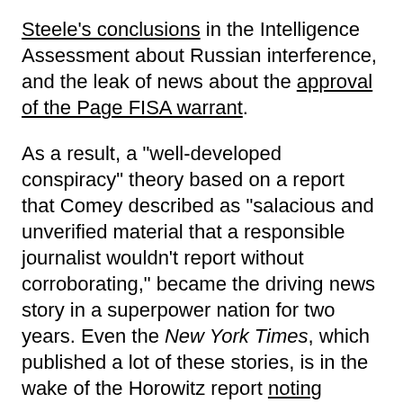Steele's conclusions in the Intelligence Assessment about Russian interference, and the leak of news about the approval of the Page FISA warrant.
As a result, a "well-developed conspiracy" theory based on a report that Comey described as "salacious and unverified material that a responsible journalist wouldn't report without corroborating," became the driving news story in a superpower nation for two years. Even the New York Times, which published a lot of these stories, is in the wake of the Horowitz report noting Steele's role in "unleashing a flood of speculation in the news media about the new president's relationship with Russia."
No matter what people think the political meaning of the Horowitz report might be, reporters who read it will know: Anybody who touched this nonsense in